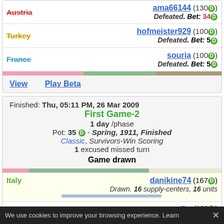Austria — ama66144 (130D) Defeated. Bet: 34D
Turkey — hofmeister929 (100D) Defeated. Bet: 5D
France — souria (100D) Defeated. Bet: 5D
View | Play Beta
Finished: Thu, 05:11 PM, 26 Mar 2009
First Game-2
1 day /phase
Pot: 35 D - Spring, 1911, Finished
Classic, Survivors-Win Scoring
1 excused missed turn
Game drawn
Italy — danikine74 (167D) Drawn. 16 supply-centers, 16 units
We use cookies to improve your browsing experience. Learn  ✕